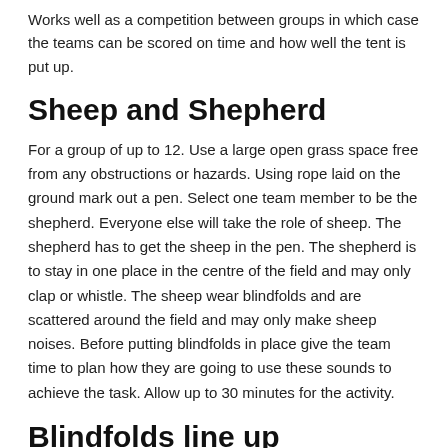Works well as a competition between groups in which case the teams can be scored on time and how well the tent is put up.
Sheep and Shepherd
For a group of up to 12. Use a large open grass space free from any obstructions or hazards. Using rope laid on the ground mark out a pen. Select one team member to be the shepherd. Everyone else will take the role of sheep. The shepherd has to get the sheep in the pen. The shepherd is to stay in one place in the centre of the field and may only clap or whistle. The sheep wear blindfolds and are scattered around the field and may only make sheep noises. Before putting blindfolds in place give the team time to plan how they are going to use these sounds to achieve the task. Allow up to 30 minutes for the activity.
Blindfolds line up
Right order - For a group of up to 12. Blindfold everyone in the group then ask them to line up in height order.